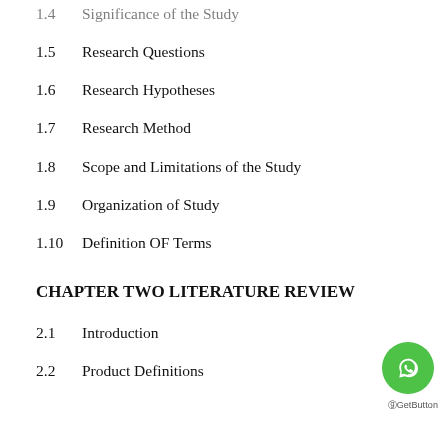1.4  Significance of the Study
1.5  Research Questions
1.6  Research Hypotheses
1.7  Research Method
1.8  Scope and Limitations of the Study
1.9  Organization of Study
1.10  Definition OF Terms
CHAPTER TWO LITERATURE REVIEW
2.1  Introduction
2.2  Product Definitions